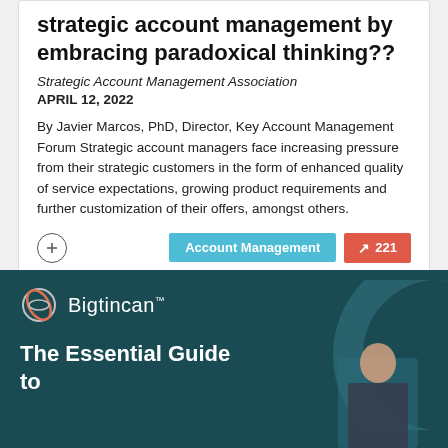strategic account management by embracing paradoxical thinking??
Strategic Account Management Association
APRIL 12, 2022
By Javier Marcos, PhD, Director, Key Account Management Forum Strategic account managers face increasing pressure from their strategic customers in the form of enhanced quality of service expectations, growing product requirements and further customization of their offers, amongst others.
[Figure (logo): Bigtincan logo with circular icon and brand name]
The Essential Guide to